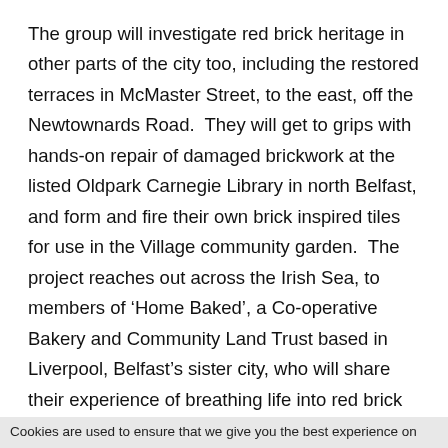The group will investigate red brick heritage in other parts of the city too, including the restored terraces in McMaster Street, to the east, off the Newtownards Road.  They will get to grips with hands-on repair of damaged brickwork at the listed Oldpark Carnegie Library in north Belfast, and form and fire their own brick inspired tiles for use in the Village community garden.  The project reaches out across the Irish Sea, to members of ‘Home Baked’, a Co-operative Bakery and Community Land Trust based in Liverpool, Belfast’s sister city, who will share their experience of breathing life into red brick heritage there.
Skilled artists from CAP will help the group imagine the future of underused landmark buildings; including the recently listed and now vacant buildings
Cookies are used to ensure that we give you the best experience on